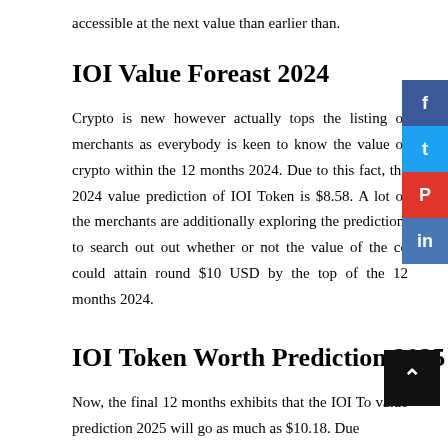accessible at the next value than earlier than.
IOI Value Foreast 2024
Crypto is new however actually tops the listing of merchants as everybody is keen to know the value of crypto within the 12 months 2024. Due to this fact, the 2024 value prediction of IOI Token is $8.58. A lot of the merchants are additionally exploring the prediction, to search out out whether or not the value of the coin could attain round $10 USD by the top of the 12 months 2024.
IOI Token Worth Prediction 2025
Now, the final 12 months exhibits that the IOI Token value prediction 2025 will go as much as $10.18. Due